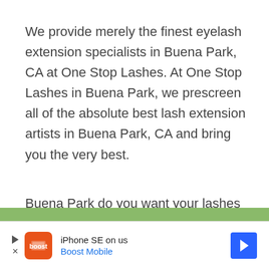We provide merely the finest eyelash extension specialists in Buena Park, CA at One Stop Lashes. At One Stop Lashes in Buena Park, we prescreen all of the absolute best lash extension artists in Buena Park, CA and bring you the very best.
Buena Park do you want your lashes to look excellent at all times without needing to have
[Figure (other): Green horizontal banner bar]
[Figure (other): Advertisement banner: iPhone SE on us - Boost Mobile, with orange Boost Mobile logo icon and blue navigation arrow icon]